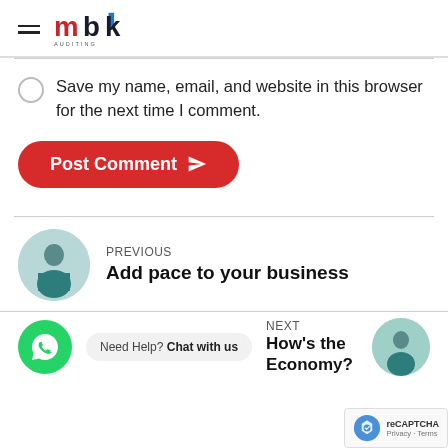mbk AUDITING
Save my name, email, and website in this browser for the next time I comment.
Post Comment
PREVIOUS
Add pace to your business
Need Help? Chat with us
NEXT
How's the Economy?